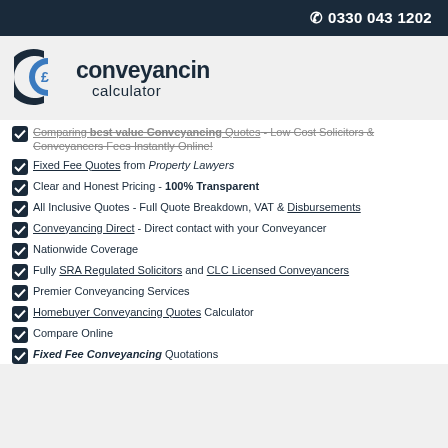0330 043 1202
[Figure (logo): Conveyancing Calculator logo with dark blue C and pound sign £ icon]
Comparing Best Value Conveyancing Quotes - Low Cost Solicitors & Conveyancers Fees Instantly Online!
Fixed Fee Quotes from Property Lawyers
Clear and Honest Pricing - 100% Transparent
All Inclusive Quotes - Full Quote Breakdown, VAT & Disbursements
Conveyancing Direct - Direct contact with your Conveyancer
Nationwide Coverage
Fully SRA Regulated Solicitors and CLC Licensed Conveyancers
Premier Conveyancing Services
Homebuyer Conveyancing Quotes Calculator
Compare Online
Fixed Fee Conveyancing Quotations